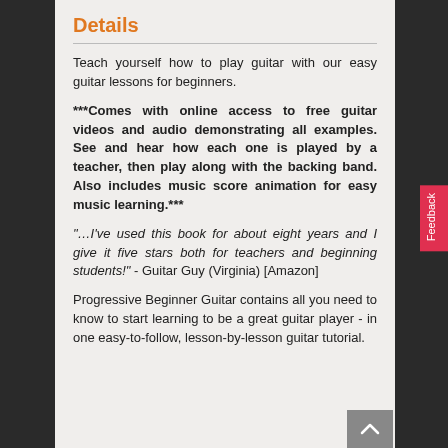Details
Teach yourself how to play guitar with our easy guitar lessons for beginners.
***Comes with online access to free guitar videos and audio demonstrating all examples. See and hear how each one is played by a teacher, then play along with the backing band. Also includes music score animation for easy music learning.***
"…I've used this book for about eight years and I give it five stars both for teachers and beginning students!" - Guitar Guy (Virginia) [Amazon]
Progressive Beginner Guitar contains all you need to know to start learning to be a great guitar player - in one easy-to-follow, lesson-by-lesson guitar tutorial.